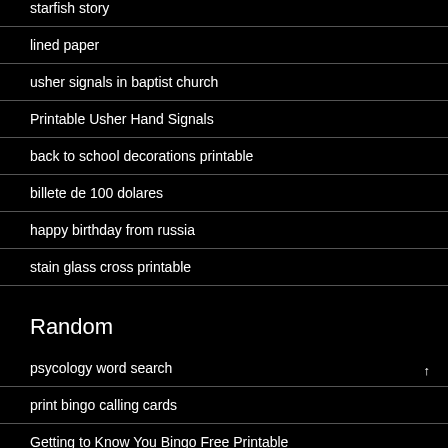starfish story
lined paper
usher signals in baptist church
Printable Usher Hand Signals
back to school decorations printable
billete de 100 dolares
happy birthday from russia
stain glass cross printable
Random
psycology word search
print bingo calling cards
Getting to Know You Bingo Free Printable